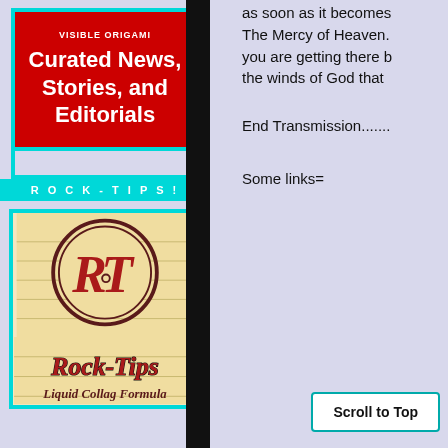[Figure (illustration): Red banner with white bold text reading 'Curated News, Stories, and Editorials' with cyan border, on light lavender background]
ROCK-TIPS!
[Figure (logo): Rock-Tips logo: circular emblem with RT initials on beige/cream background, with 'Rock-Tips' text in red below and partial text 'Liquid Collag Formula' at bottom]
as soon as it becomes The Mercy of Heaven. you are getting there b the winds of God that
End Transmission.......
Some links=
Scroll to Top